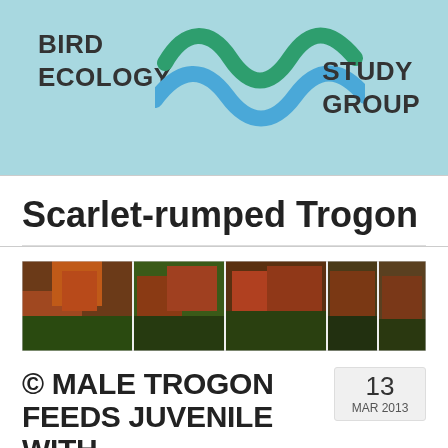[Figure (logo): Bird Ecology Study Group logo with green and blue wave motifs and text: BIRD ECOLOGY on the left, STUDY GROUP on the right]
Scarlet-rumped Trogon
[Figure (photo): A horizontal photo strip showing multiple images of Scarlet-rumped Trogons perched among foliage]
© MALE TROGON FEEDS JUVENILE WITH GRASSHOPPER PREY
13 MAR 2013